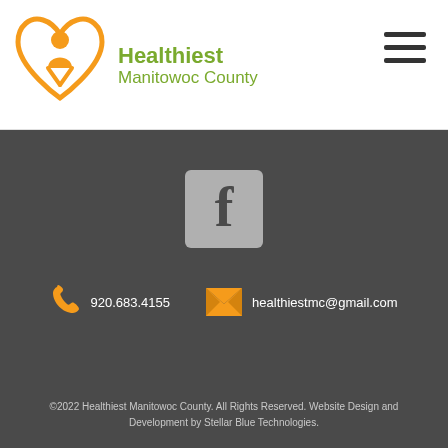Healthiest Manitowoc County
[Figure (logo): Healthiest Manitowoc County logo with orange heart and figure icon]
[Figure (illustration): Hamburger menu icon with three horizontal bars]
[Figure (illustration): Facebook icon: grey rounded square with white f letter]
920.683.4155
healthiestmc@gmail.com
©2022 Healthiest Manitowoc County. All Rights Reserved. Website Design and Development by Stellar Blue Technologies.